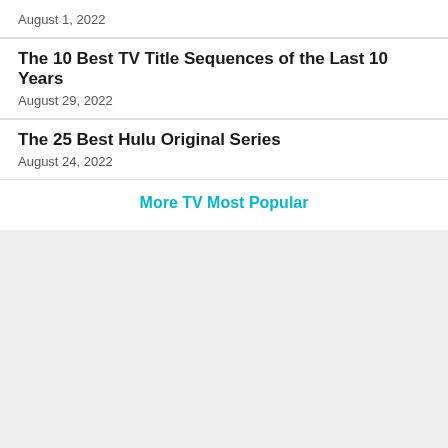August 1, 2022
The 10 Best TV Title Sequences of the Last 10 Years
August 29, 2022
The 25 Best Hulu Original Series
August 24, 2022
More TV Most Popular